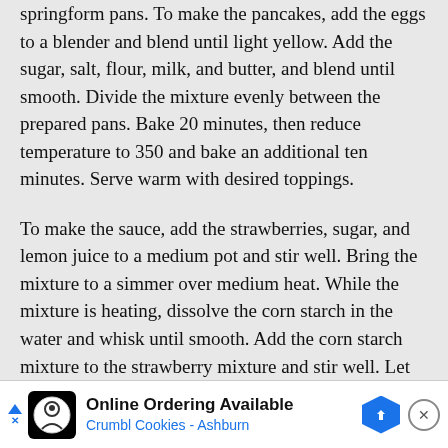springform pans. To make the pancakes, add the eggs to a blender and blend until light yellow. Add the sugar, salt, flour, milk, and butter, and blend until smooth. Divide the mixture evenly between the prepared pans. Bake 20 minutes, then reduce temperature to 350 and bake an additional ten minutes. Serve warm with desired toppings.
To make the sauce, add the strawberries, sugar, and lemon juice to a medium pot and stir well. Bring the mixture to a simmer over medium heat. While the mixture is heating, dissolve the corn starch in the water and whisk until smooth. Add the corn starch mixture to the strawberry mixture and stir well. Let simmer 2-3 minutes, or until slightly thickened. Remove and let cool slightly before serving.
[Figure (other): Advertisement banner for Crumbl Cookies - Ashburn showing online ordering availability, with logo, navigation icon, and close button]